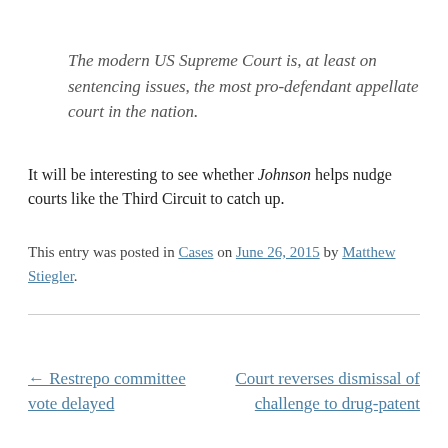The modern US Supreme Court is, at least on sentencing issues, the most pro-defendant appellate court in the nation.
It will be interesting to see whether Johnson helps nudge courts like the Third Circuit to catch up.
This entry was posted in Cases on June 26, 2015 by Matthew Stiegler.
← Restrepo committee vote delayed
Court reverses dismissal of challenge to drug-patent